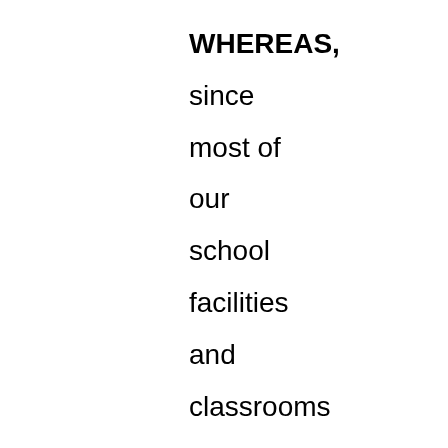WHEREAS, since most of our school facilities and classrooms are 45 to 60-years old, and given the Board's desire that our students be prepared to succeed in a 21st